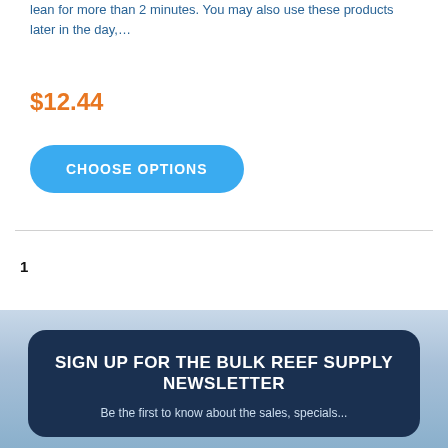lean for more than 2 minutes. You may also use these products later in the day,...
$12.44
CHOOSE OPTIONS
1
SIGN UP FOR THE BULK REEF SUPPLY NEWSLETTER
Be the first to know about the sales, specials...